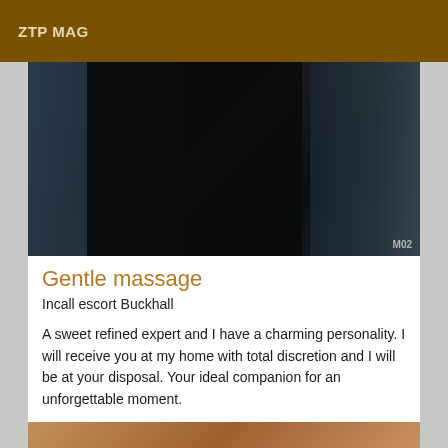ZTP MAG
[Figure (photo): Dark photograph showing a figure in a dimly lit interior space with a watermark 'M02' in the bottom right corner]
Gentle massage
Incall escort Buckhall
A sweet refined expert and I have a charming personality. I will receive you at my home with total discretion and I will be at your disposal. Your ideal companion for an unforgettable moment.
[Figure (photo): Partial photo visible at bottom of page]